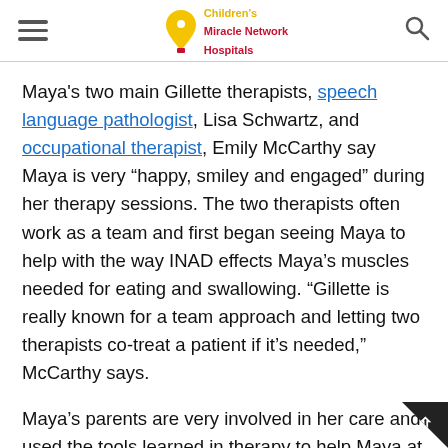Children's Miracle Network Hospitals
Maya's two main Gillette therapists, speech language pathologist, Lisa Schwartz, and occupational therapist, Emily McCarthy say Maya is very “happy, smiley and engaged” during her therapy sessions. The two therapists often work as a team and first began seeing Maya to help with the way INAD effects Maya’s muscles needed for eating and swallowing. “Gillette is really known for a team approach and letting two therapists co-treat a patient if it’s needed,” McCarthy says.
Maya’s parents are very involved in her care and used the tools learned in therapy to help Maya at home. Maya’s dad says she has a limited vocabulary of about five words now and says she’s good at